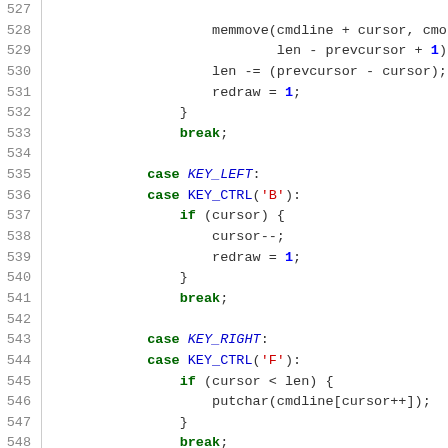[Figure (screenshot): Source code listing lines 527-553 showing C code for keyboard cursor movement handling with cases for KEY_LEFT, KEY_RIGHT, and KEY_CTRL combinations.]